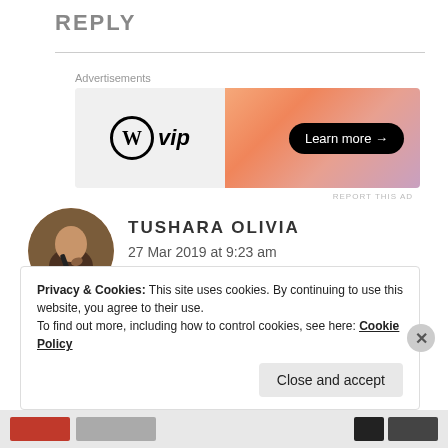REPLY
[Figure (screenshot): WordPress VIP advertisement banner with orange gradient background and 'Learn more →' button]
Advertisements
REPORT THIS AD
[Figure (photo): Circular avatar photo of a person writing with a pen]
TUSHARA OLIVIA
27 Mar 2019 at 9:23 am
😍😍🥰
Privacy & Cookies: This site uses cookies. By continuing to use this website, you agree to their use.
To find out more, including how to control cookies, see here: Cookie Policy
Close and accept